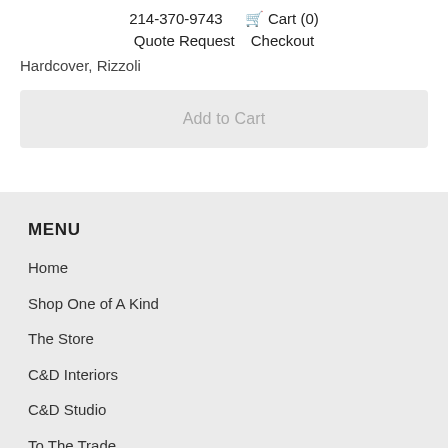214-370-9743  Cart (0)  Quote Request  Checkout
Hardcover, Rizzoli
Add to Cart
MENU
Home
Shop One of A Kind
The Store
C&D Interiors
C&D Studio
To The Trade
Have We Met?